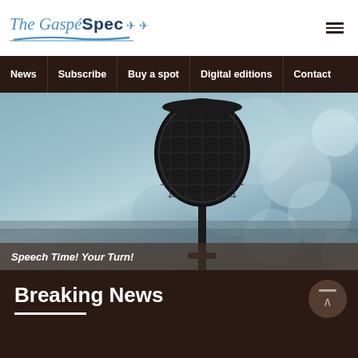[Figure (logo): The Gaspé Spec newspaper logo with stylized text and bird silhouettes]
News | Subscribe | Buy a spot | Digital editions | Contact
[Figure (photo): Close-up photo of a microphone against a blurred bokeh background]
Speech Time! Your Turn!
Breaking News